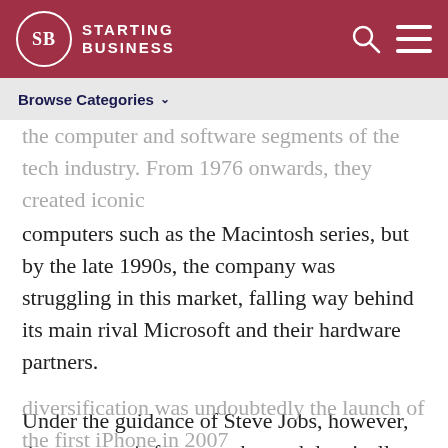Starting Business
Browse Categories
computers such as the Macintosh series, but by the late 1990s, the company was struggling in this market, falling way behind its main rival Microsoft and their hardware partners.

Under the guidance of Steve Jobs, however, the company's fortunes changed drastically, with the groundbreaking launch of the iMac and iBook series in 1997. With the rise of digital music downloads, the iPod was also a success upon its release in 2001, but their biggest success in product
diversification was undoubtedly the launch of the first iPhone in 2007